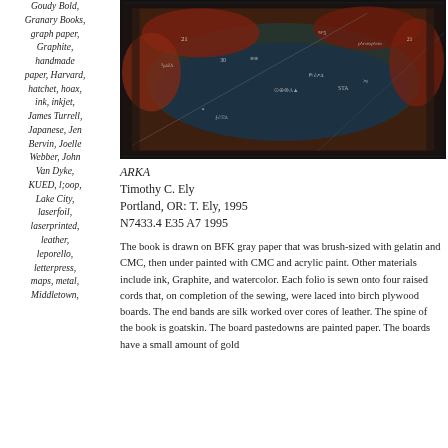Goudy Bold, Granary Books, graph paper, Graphite, handmade paper, Harvard, hatchet, hoax, ink, inkjet, James Turrell, Japanese, Jen Bervin, Joelle Webber, John Van Dyke, KUED, l;oop, Lake City, laserfoil, laserprinted, leather, leporello, letterpress, maps, metal, Middletown,
[Figure (photo): Photograph of a book cover or board with dark reddish-brown and teal painted surface, covered in handwritten text, symbols, and markings in white and light colors.]
ARKA
Timothy C. Ely
Portland, OR: T. Ely, 1995
N7433.4 E35 A7 1995
The book is drawn on BFK gray paper that was brush-sized with gelatin and CMC, then under painted with CMC and acrylic paint. Other materials include ink, Graphite, and watercolor. Each folio is sewn onto four raised cords that, on completion of the sewing, were laced into birch plywood boards. The end bands are silk worked over cores of leather. The spine of the book is goatskin. The board pastedowns are painted paper. The boards have a small amount of gold